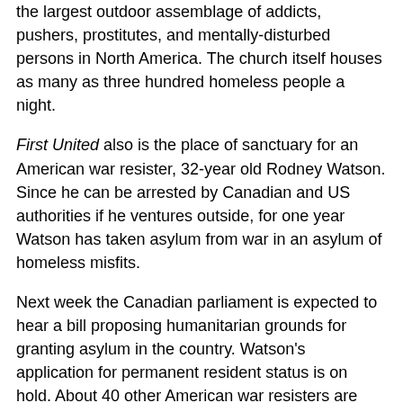the largest outdoor assemblage of addicts, pushers, prostitutes, and mentally-disturbed persons in North America. The church itself houses as many as three hundred homeless people a night.
First United also is the place of sanctuary for an American war resister, 32-year old Rodney Watson. Since he can be arrested by Canadian and US authorities if he ventures outside, for one year Watson has taken asylum from war in an asylum of homeless misfits.
Next week the Canadian parliament is expected to hear a bill proposing humanitarian grounds for granting asylum in the country. Watson's application for permanent resident status is on hold. About 40 other American war resisters are seeking asylum in Canada, where nearly 80,000 were given protection during the Vietnam War.
Each day Watson waives goodbye to his Canadian wife and two-year old son as they venture out of the church to shop,